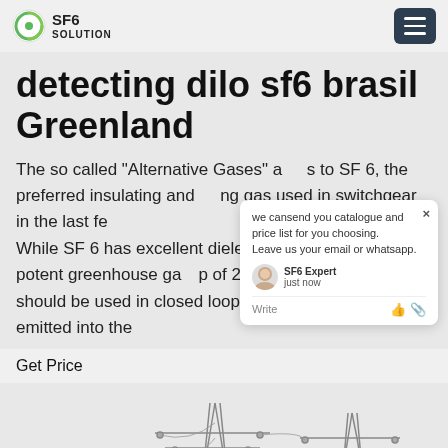SF6 SOLUTION
detecting dilo sf6 brasil Greenland
The so called "Alternative Gases" a... s to SF 6, the preferred insulating and ng gas used in switchgear in the last fe... While SF 6 has excellent dielectric p... s also the most potent greenhouse ga... of 23,900. Ideally, SF 6 should be used in closed loop systems and never be emitted into the
Get Price
[Figure (photo): Electrical transmission towers/pylons with high voltage power lines against a light sky background]